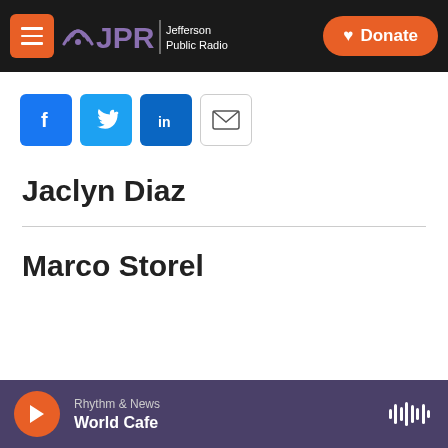JPR Jefferson Public Radio | Donate
[Figure (logo): Social sharing buttons: Facebook, Twitter, LinkedIn, Email]
Jaclyn Diaz
Marco Storel
Rhythm & News | World Cafe